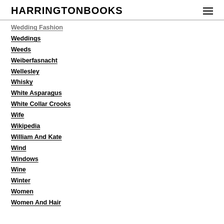HARRINGTONBOOKS
Wedding Fashion
Weddings
Weeds
Weiberfasnacht
Wellesley
Whisky
White Asparagus
White Collar Crooks
Wife
Wikipedia
William And Kate
Wind
Windows
Wine
Winter
Women
Women And Hair